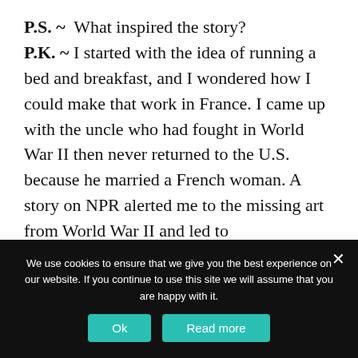P.S. ~  What inspired the story?
P.K. ~ I started with the idea of running a bed and breakfast, and I wondered how I could make that work in France. I came up with the uncle who had fought in World War II then never returned to the U.S. because he married a French woman. A story on NPR alerted me to the missing art from World War II and led to
We use cookies to ensure that we give you the best experience on our website. If you continue to use this site we will assume that you are happy with it.